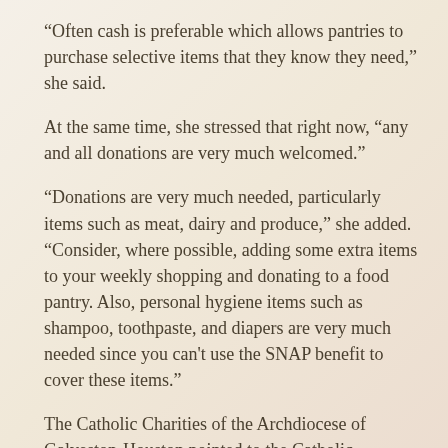“Often cash is preferable which allows pantries to purchase selective items that they know they need,” she said.
At the same time, she stressed that right now, “any and all donations are very much welcomed.”
“Donations are very much needed, particularly items such as meat, dairy and produce,” she added. “Consider, where possible, adding some extra items to your weekly shopping and donating to a food pantry. Also, personal hygiene items such as shampoo, toothpaste, and diapers are very much needed since you can't use the SNAP benefit to cover these items.”
The Catholic Charities of the Archdiocese of Galveston-Houston pointed to the Catholic reasoning behind providing help to those in need.
“Catholic Social Teaching urges us to treat one another with dignity and compassion,” a spokesperson for the Catholic Charities of the Archdiocese of Galveston-Houston told CNA.